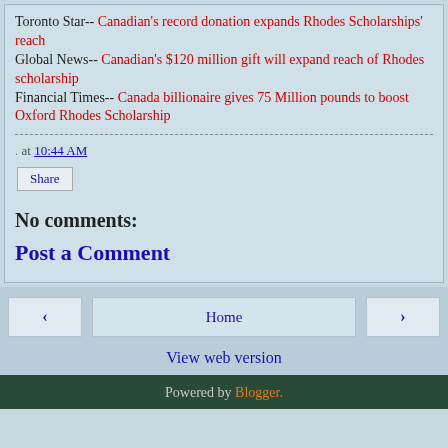Toronto Star-- Canadian's record donation expands Rhodes Scholarships' reach
Global News-- Canadian's $120 million gift will expand reach of Rhodes scholarship
Financial Times-- Canada billionaire gives 75 Million pounds to boost Oxford Rhodes Scholarship
. at 10:44 AM
Share
No comments:
Post a Comment
Powered by Blogger.